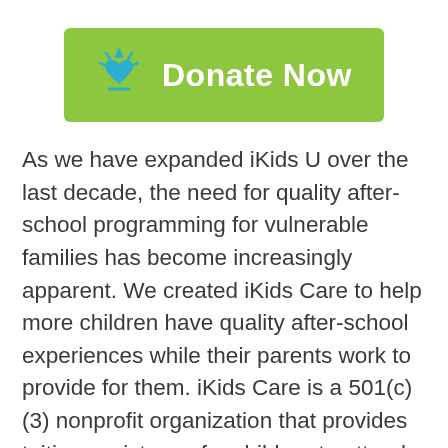[Figure (other): Green 'Donate Now' button with a teal heart/sun icon on the left and white bold text 'Donate Now' on the right]
As we have expanded iKids U over the last decade, the need for quality after-school programming for vulnerable families has become increasingly apparent. We created iKids Care to help more children have quality after-school experiences while their parents work to provide for them. iKids Care is a 501(c)(3) nonprofit organization that provides tuition assistance for children to attend safe and enriching after-school programs that inspire learning while